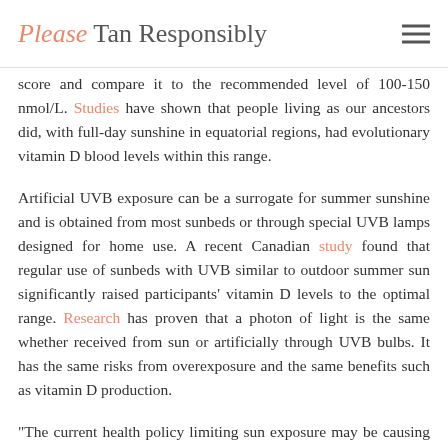Please Tan Responsibly
score and compare it to the recommended level of 100-150 nmol/L. Studies have shown that people living as our ancestors did, with full-day sunshine in equatorial regions, had evolutionary vitamin D blood levels within this range.
Artificial UVB exposure can be a surrogate for summer sunshine and is obtained from most sunbeds or through special UVB lamps designed for home use. A recent Canadian study found that regular use of sunbeds with UVB similar to outdoor summer sun significantly raised participants' vitamin D levels to the optimal range. Research has proven that a photon of light is the same whether received from sun or artificially through UVB bulbs. It has the same risks from overexposure and the same benefits such as vitamin D production.
“The current health policy limiting sun exposure may be causing more deaths and disease than its preventing. Vitamin D levels have been dropping and more people are becoming vitamin D deficient in